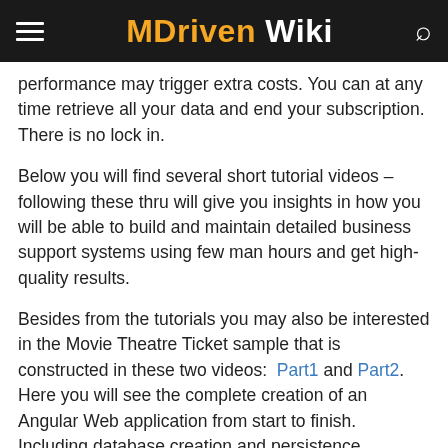MDriven Wiki
performance may trigger extra costs. You can at any time retrieve all your data and end your subscription. There is no lock in.
Below you will find several short tutorial videos – following these thru will give you insights in how you will be able to build and maintain detailed business support systems using few man hours and get high-quality results.
Besides from the tutorials you may also be interested in the Movie Theatre Ticket sample that is constructed in these two videos:  Part1 and Part2. Here you will see the complete creation of an Angular Web application from start to finish. Including database creation and persistence handling – navigation between angularJS pages – solving common business problems like server side reservations – use of html5, CSS and angular on your terms when you want to replace the automatically generated UI.
Licensing model
You subscribe to an MDriven Turnkey site that holds your